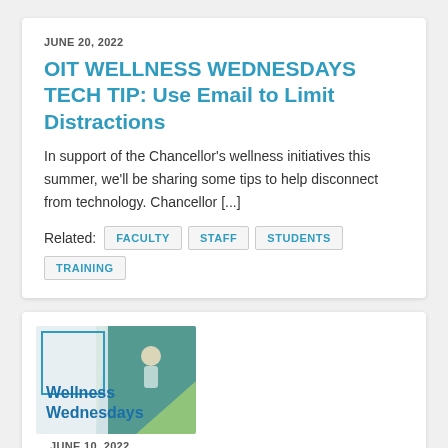JUNE 20, 2022
OIT WELLNESS WEDNESDAYS TECH TIP: Use Email to Limit Distractions
In support of the Chancellor's wellness initiatives this summer, we'll be sharing some tips to help disconnect from technology. Chancellor [...]
Related:  FACULTY  STAFF  STUDENTS  TRAINING
[Figure (illustration): Wellness Wednesdays promotional image with text overlay on blue and green background]
JUNE 10, 2022